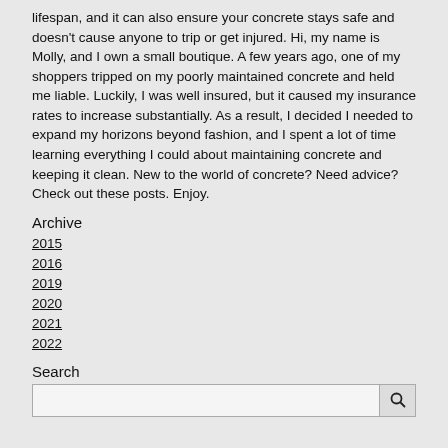lifespan, and it can also ensure your concrete stays safe and doesn't cause anyone to trip or get injured. Hi, my name is Molly, and I own a small boutique. A few years ago, one of my shoppers tripped on my poorly maintained concrete and held me liable. Luckily, I was well insured, but it caused my insurance rates to increase substantially. As a result, I decided I needed to expand my horizons beyond fashion, and I spent a lot of time learning everything I could about maintaining concrete and keeping it clean. New to the world of concrete? Need advice? Check out these posts. Enjoy.
Archive
2015
2016
2019
2020
2021
2022
Search